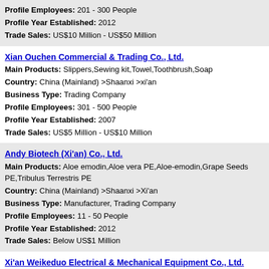Profile Employees: 201 - 300 People
Profile Year Established: 2012
Trade Sales: US$10 Million - US$50 Million
Xian Ouchen Commercial & Trading Co., Ltd.
Main Products: Slippers,Sewing kit,Towel,Toothbrush,Soap
Country: China (Mainland) >Shaanxi >xi'an
Business Type: Trading Company
Profile Employees: 301 - 500 People
Profile Year Established: 2007
Trade Sales: US$5 Million - US$10 Million
Andy Biotech (Xi'an) Co., Ltd.
Main Products: Aloe emodin,Aloe vera PE,Aloe-emodin,Grape Seeds PE,Tribulus Terrestris PE
Country: China (Mainland) >Shaanxi >Xi'an
Business Type: Manufacturer, Trading Company
Profile Employees: 11 - 50 People
Profile Year Established: 2012
Trade Sales: Below US$1 Million
Xi'an Weikeduo Electrical & Mechanical Equipment Co., Ltd.
Main Products: Finishing Roll and Parts,High Speed Gear Box
Country: China (Mainland) >Shaanxi >xian
Business Type: Manufacturer, Trading Company
Profile Employees: 51 - 100 People
Profile Year Established: 2006
Trade Sales: US$1 Million - US$2.5 Million